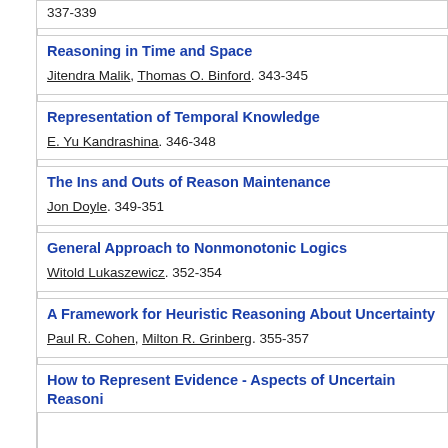337-339
Reasoning in Time and Space
Jitendra Malik, Thomas O. Binford. 343-345
Representation of Temporal Knowledge
E. Yu Kandrashina. 346-348
The Ins and Outs of Reason Maintenance
Jon Doyle. 349-351
General Approach to Nonmonotonic Logics
Witold Lukaszewicz. 352-354
A Framework for Heuristic Reasoning About Uncertainty
Paul R. Cohen, Milton R. Grinberg. 355-357
How to Represent Evidence - Aspects of Uncertain Reasoning